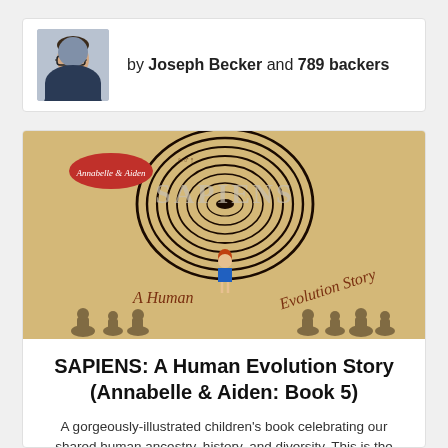by Joseph Becker and 789 backers
[Figure (illustration): Book cover of SAPIENS: A Human Evolution Story showing a large fingerprint silhouette in the shape of a head on a tan/gold background, with a small girl with red hair in a blue dress standing beneath it, and shadowy human ancestor figures along the bottom. Text reads 'A Human Evolution Story'. Small red logo in top-left reads 'Annabelle & Aiden'.]
SAPIENS: A Human Evolution Story (Annabelle & Aiden: Book 5)
A gorgeously-illustrated children's book celebrating our shared human ancestry, history, and diversity. This is the story of us.